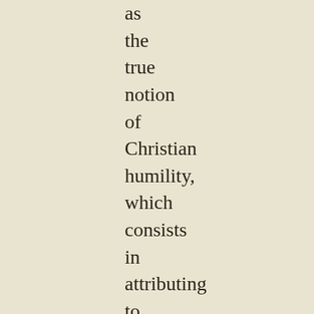as the true notion of Christian humility, which consists in attributing to the grace of the Holy Ghost whatever sanctity we may have attained; for our